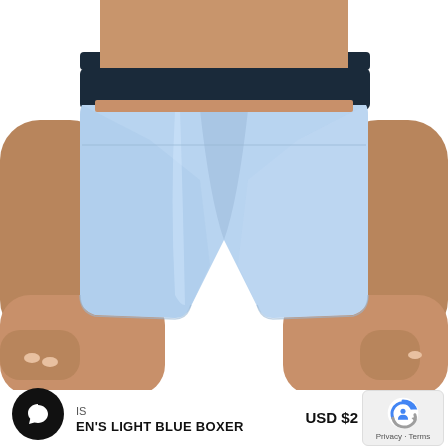[Figure (photo): Product photo of women's light blue boxer shorts with dark navy waistband, modeled on a person showing mid-torso to mid-thigh, white background.]
IS
EN'S LIGHT BLUE BOXER
USD $2